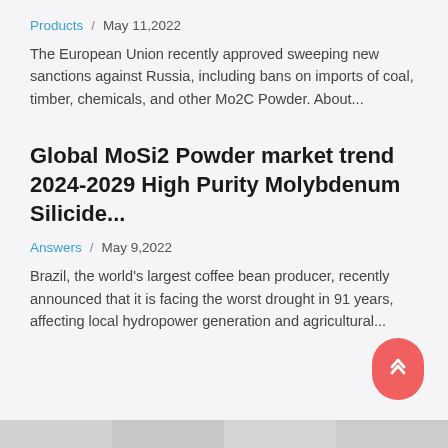Products / May 11,2022
The European Union recently approved sweeping new sanctions against Russia, including bans on imports of coal, timber, chemicals, and other Mo2C Powder. About...
Global MoSi2 Powder market trend 2024-2029 High Purity Molybdenum Silicide...
Answers / May 9,2022
Brazil, the world's largest coffee bean producer, recently announced that it is facing the worst drought in 91 years, affecting local hydropower generation and agricultural...